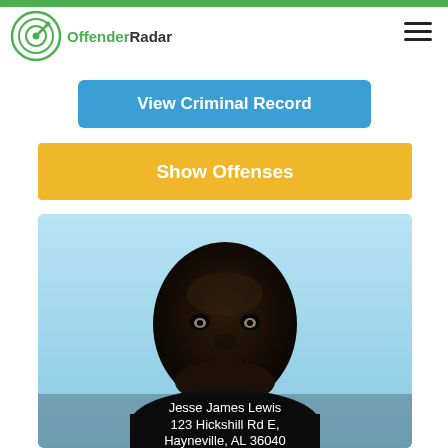OffenderRadar
View Criminal Record
Show Offenses
[Figure (photo): Mugshot photo of Jesse James Lewis against a light blue background, with name and address text overlay at the bottom reading: Jesse James Lewis, 123 Hickshill Rd E, Hayneville, AL 36040]